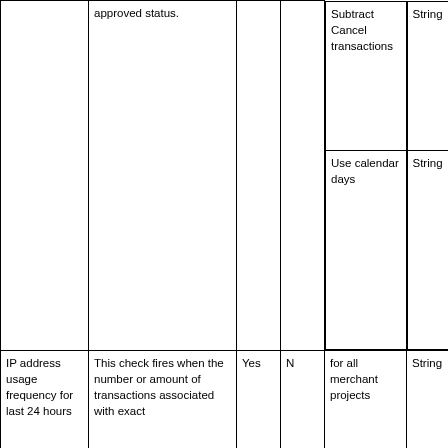|  | approved status. |  |  | Subtract Cancel transactions

Use calendar days | String

String |
| IP address usage frequency for last 24 hours | This check fires when the number or amount of transactions associated with exact | Yes | N | for all merchant projects | String |